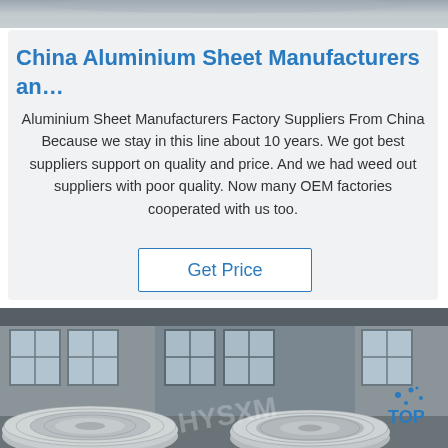[Figure (photo): Top partial photo of aluminium or industrial material, gray tones]
China Aluminium Sheet Manufacturers an…
Aluminium Sheet Manufacturers Factory Suppliers From China Because we stay in this line about 10 years. We got best suppliers support on quality and price. And we had weed out suppliers with poor quality. Now many OEM factories cooperated with us too.
Get Price
[Figure (photo): Industrial warehouse interior with large aluminium coil rolls on the floor, windows in background, TOP watermark/logo visible in lower right]